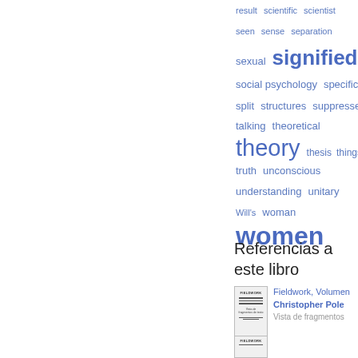[Figure (infographic): Word cloud with terms in blue of varying sizes: result, scientific, scientist, seen, sense, separation, sexual, signified (large), social psychology, specific, split, structures, suppressed, talking, theoretical, theory (very large), thesis, things, truth, unconscious, understanding, unitary, Will's, woman, women (very large)]
Referencias a este libro
[Figure (illustration): Thumbnail cover image of the book Fieldwork with horizontal lines representing text]
Fieldwork, Volumen
Christopher Pole
Vista de fragmentos